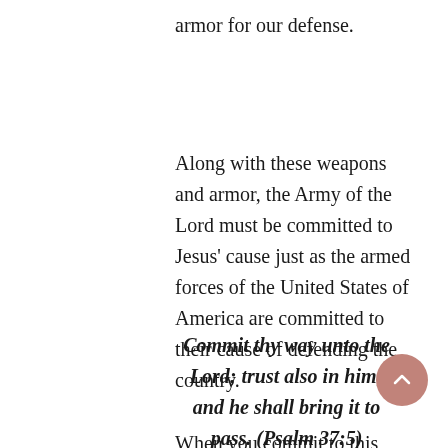armor for our defense.
Along with these weapons and armor, the Army of the Lord must be committed to Jesus' cause just as the armed forces of the United States of America are committed to their cause of defending the country.
Commit thy way unto the Lord; trust also in him; and he shall bring it to pass. (Psalm 37:5)
When you commit to this cause of